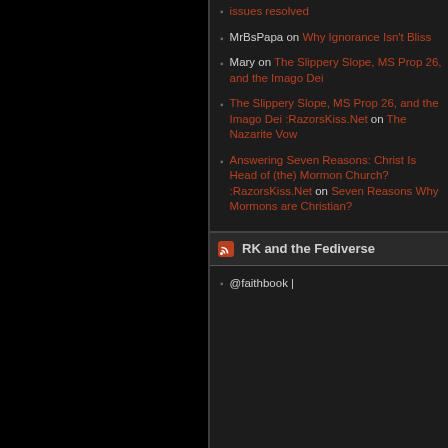MrBsPapa on Why Ignorance Isn't Bliss
Mary on The Slippery Slope, MS Prop 26, and the Imago Dei
The Slippery Slope, MS Prop 26, and the Imago Dei :RazorsKiss.Net on The Nazarite Vow
Answering Seven Reasons: Christ Is Head of (the) Mormon Church? :RazorsKiss.Net on Seven Reasons Why Mormons are Christian?
RK and the Fediverse
@faithbook |